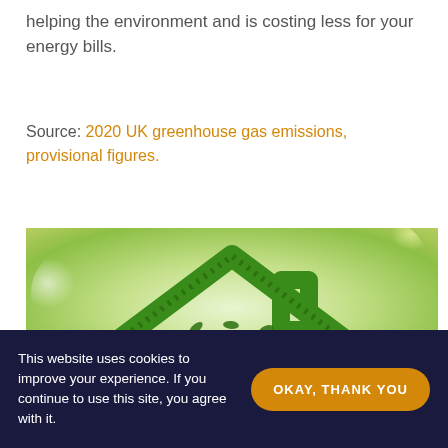helping the environment and is costing less for your energy bills.
Source: 2020 UK greenhouse gas emissions, provisional figures.
[Figure (illustration): Green house outline made of grass with leaves/foliage inside on a blurred green background]
This website uses cookies to improve your experience. If you continue to use this site, you agree with it.